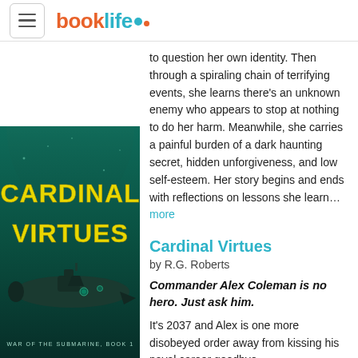booklife
to question her own identity. Then through a spiraling chain of terrifying events, she learns there's an unknown enemy who appears to stop at nothing to do her harm. Meanwhile, she carries a painful burden of a dark haunting secret, hidden unforgiveness, and low self-esteem. Her story begins and ends with reflections on lessons she learn… more
Cardinal Virtues
by R.G. Roberts
[Figure (illustration): Book cover for Cardinal Virtues by R.G. Roberts. Green underwater scene with a submarine and yellow bold title text.]
Commander Alex Coleman is no hero. Just ask him.
It's 2037 and Alex is one more disobeyed order away from kissing his naval career goodbye.
He used to be high speed, the kind of officer on the fast track to submarine